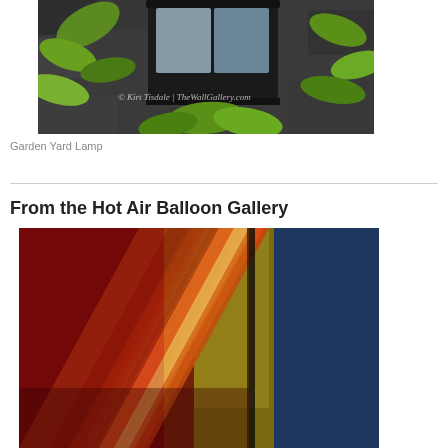[Figure (illustration): Digital illustration of a garden yard lamp with green leaves and a stone wall background. Watermark reads: © Kirt Tisdale | TheWallGallery.com]
Garden Yard Lamp
From the Hot Air Balloon Gallery
[Figure (photo): Colorful abstract photo of hot air balloon fabric with red, orange, gold, and blue colors showing radiating diagonal stripe patterns.]